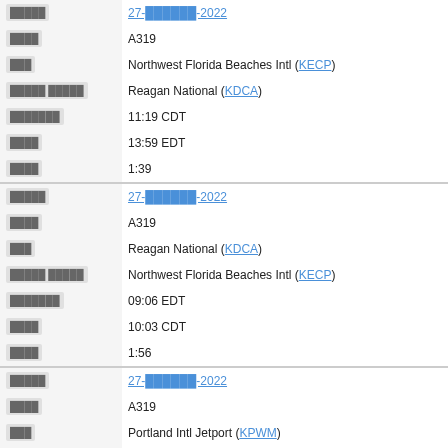| label | value |
| --- | --- |
| [redacted] | 27-[redacted]-2022 |
| [redacted] | A319 |
| [redacted] | Northwest Florida Beaches Intl (KECP) |
| [redacted] [redacted] | Reagan National (KDCA) |
| [redacted] | 11:19 CDT |
| [redacted] | 13:59 EDT |
| [redacted] | 1:39 |
| [redacted] | 27-[redacted]-2022 |
| [redacted] | A319 |
| [redacted] | Reagan National (KDCA) |
| [redacted] [redacted] | Northwest Florida Beaches Intl (KECP) |
| [redacted] | 09:06 EDT |
| [redacted] | 10:03 CDT |
| [redacted] | 1:56 |
| [redacted] | 27-[redacted]-2022 |
| [redacted] | A319 |
| [redacted] | Portland Intl Jetport (KPWM) |
| [redacted] [redacted] | Reagan National (KDCA) |
| [redacted] | 06:26 EDT |
| [redacted] | 07:46 EDT |